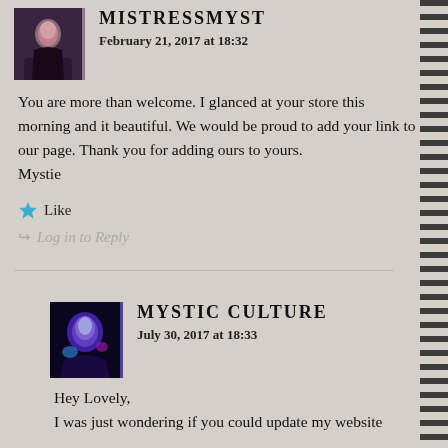[Figure (photo): Avatar image of MistressMyst user, dark toned photo]
MISTRESSMYST
February 21, 2017 at 18:32
You are more than welcome. I glanced at your store this morning and it beautiful. We would be proud to add your link to our page. Thank you for adding ours to yours.
Mystie
Like
Log in to Reply
[Figure (photo): Avatar image of Mystic Culture user, purple/blue toned photo]
MYSTIC CULTURE
July 30, 2017 at 18:33
Hey Lovely,
I was just wondering if you could update my website